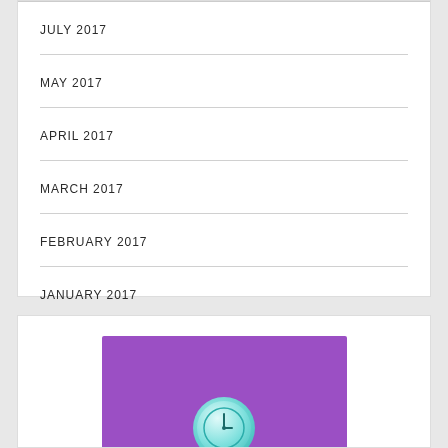JULY 2017
MAY 2017
APRIL 2017
MARCH 2017
FEBRUARY 2017
JANUARY 2017
[Figure (illustration): Purple background with a teal/cyan clock illustration at the bottom center]